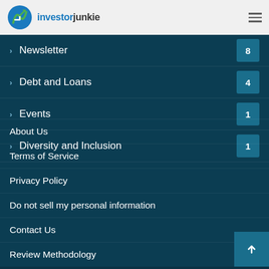investorjunkie
Newsletter 8
Debt and Loans 4
Events 1
Diversity and Inclusion 1
About Us
Terms of Service
Privacy Policy
Do not sell my personal information
Contact Us
Review Methodology